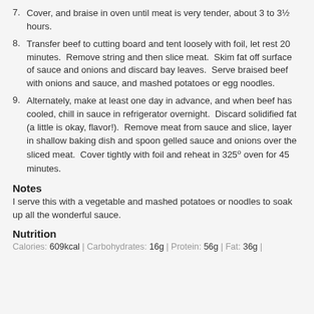7. Cover, and braise in oven until meat is very tender, about 3 to 3½ hours.
8. Transfer beef to cutting board and tent loosely with foil, let rest 20 minutes.  Remove string and then slice meat.  Skim fat off surface of sauce and onions and discard bay leaves.  Serve braised beef with onions and sauce, and mashed potatoes or egg noodles.
9. Alternately, make at least one day in advance, and when beef has cooled, chill in sauce in refrigerator overnight.  Discard solidified fat (a little is okay, flavor!).  Remove meat from sauce and slice, layer in shallow baking dish and spoon gelled sauce and onions over the sliced meat.  Cover tightly with foil and reheat in 325º oven for 45 minutes.
Notes
I serve this with a vegetable and mashed potatoes or noodles to soak up all the wonderful sauce.
Nutrition
Calories: 609kcal | Carbohydrates: 16g | Protein: 56g | Fat: 36g |